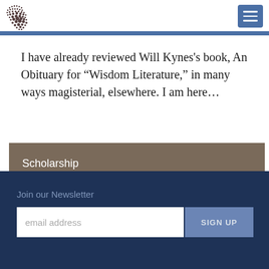[Figure (logo): Dotted circular logo pattern in dark brown/maroon]
I have already reviewed Will Kynes's book, An Obituary for “Wisdom Literature,” in many ways magisterial, elsewhere. I am here…
Scholarship
Join our Newsletter
email address
SIGN UP